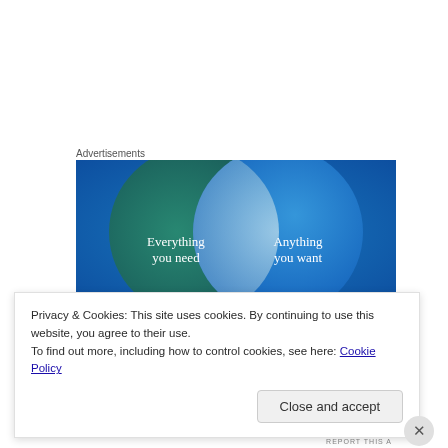Advertisements
[Figure (illustration): Advertisement image showing a Venn diagram with two overlapping circles on a teal/blue gradient background. Left circle (teal/green) contains text 'Everything you need'. Right circle (blue) contains text 'Anything you want'. The overlapping area is light blue/white.]
Privacy & Cookies: This site uses cookies. By continuing to use this website, you agree to their use.
To find out more, including how to control cookies, see here: Cookie Policy
Close and accept